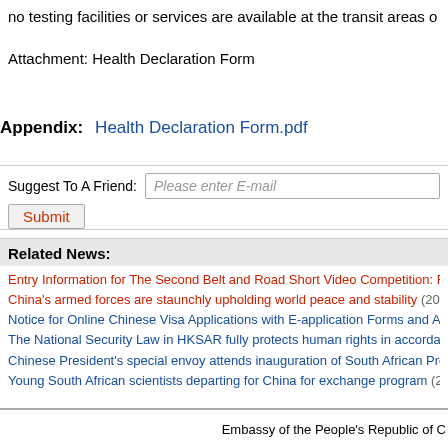no testing facilities or services are available at the transit areas o
Attachment: Health Declaration Form
Appendix: Health Declaration Form.pdf
Suggest To A Friend: Please enter E-mail
Submit
Related News:
Entry Information for The Second Belt and Road Short Video Competition: Foo
China's armed forces are staunchly upholding world peace and stability (2020-
Notice for Online Chinese Visa Applications with E-application Forms and Appo
The National Security Law in HKSAR fully protects human rights in accordance
Chinese President's special envoy attends inauguration of South African Presio
Young South African scientists departing for China for exchange program (201
Embassy of the People's Republic of C